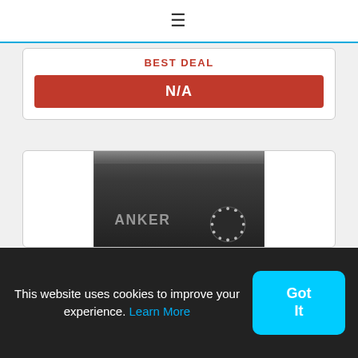≡
BEST DEAL
N/A
[Figure (photo): Close-up photo of a dark grey Anker portable power bank device with the ANKER logo on the left and a circular LED indicator on the right side]
This website uses cookies to improve your experience. Learn More
Got It